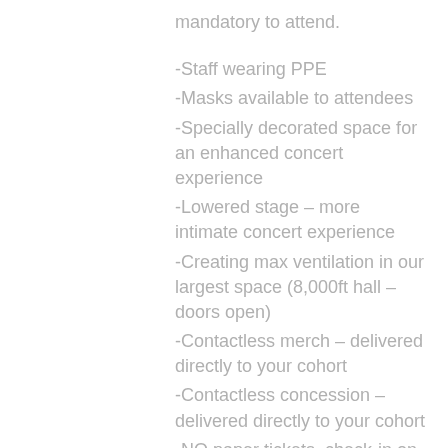mandatory to attend.
-Staff wearing PPE
-Masks available to attendees
-Specially decorated space for an enhanced concert experience
-Lowered stage – more intimate concert experience
-Creating max ventilation in our largest space (8,000ft hall – doors open)
-Contactless merch – delivered directly to your cohort
-Contactless concession – delivered directly to your cohort
-NO paper tickets, check-in on arrival
-Cleaning/disinfecting entire space before, during, and after
-All patrons will receive a phone call from Mary Winspear Centre staff before event for